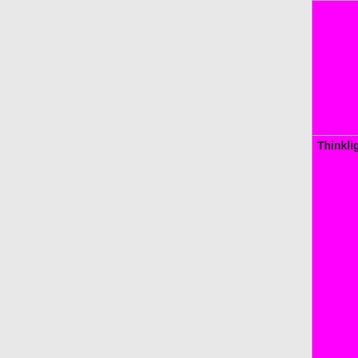| Feature | Status |
| --- | --- |
|  | WIP=orange | Untested=yellow | N/A=lightgray yellow }}" | N/A |
| Thinklight | OK=lime | TODO=red | No=red | WIP=orange | Untested=yellow | N/A=lightgray yellow }}" | N/A |
| Webcam | OK=lime | TODO=red | No=red | WIP=orange | Untested=yellow | N/A=lightgray yellow }}" | N/A |
| Miscellaneous |  |
| Sensors / fan control | OK=lime | TODO=red | No=red | WIP=orange |